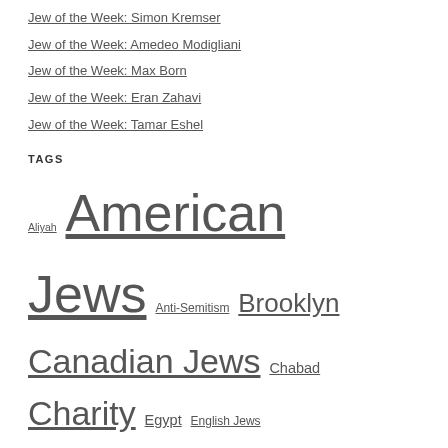Jew of the Week: Simon Kremser
Jew of the Week: Amedeo Modigliani
Jew of the Week: Max Born
Jew of the Week: Eran Zahavi
Jew of the Week: Tamar Eshel
TAGS
Aliyah American Jews Anti-Semitism Brooklyn Canadian Jews Chabad Charity Egypt English Jews German Jews Germany Harvard Hebrew Hollywood Holocaust Hungarian Jews IDF Israel Israelis Jerusalem Kabbalah Lithuanian Jews London Mizrahi Jews Music New York Nobel Prize Orthodox Jews Paris Philanthropists Physics Polish Jews Rabbi Russian Jews Sephardic Jews Talmud Tel Aviv Torah Ukrainian Jews War of Independence World War I World War II Yeshiva Zionism Zionist